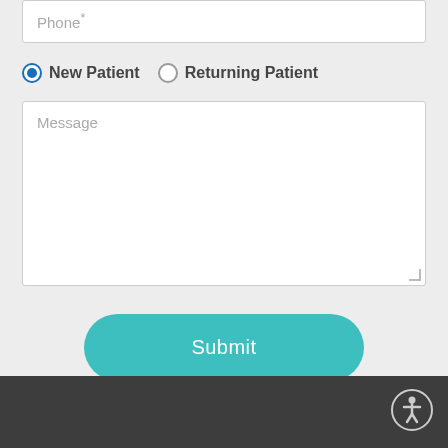Phone*
New Patient (selected)
Returning Patient
Message
Submit
[Figure (illustration): Accessibility icon (person in circle) in the bottom-right footer]